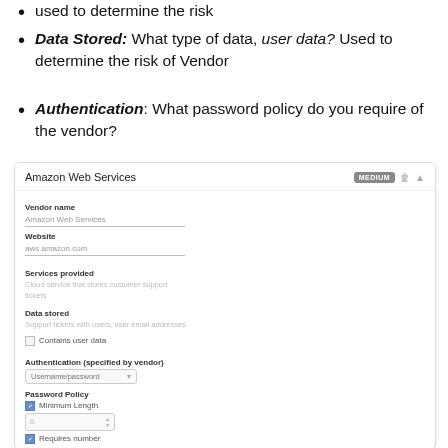used to determine the risk
Data Stored: What type of data, user data? Used to determine the risk of Vendor
Authentication: What password policy do you require of the vendor?
[Figure (screenshot): Amazon Web Services vendor form card showing fields: Vendor name (Amazon Web Services), Website (aws.amazon.com), Services provided (Cloud service that stores customer support tickets), Data stored (Support tickets with users, user email addresses), Contains user data checkbox, Authentication (specified by vendor) dropdown (Username/password), Password Policy section with Minimum Length checkbox checked and a spinner input, and Requires number checkbox.]